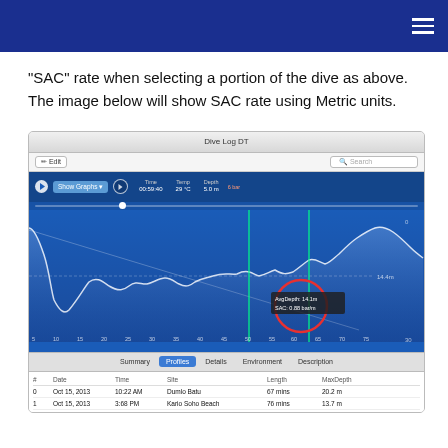"SAC" rate when selecting a portion of the dive as above. The image below will show SAC rate using Metric units.
[Figure (screenshot): Screenshot of Dive Log DT application showing a dive profile graph with depth curve, two vertical green selection lines, a red circle highlighting AvgDepth: 14.1m and SAC: 0.88 bar/m tooltip, and a log list showing two dives from Oct 15, 2013.]